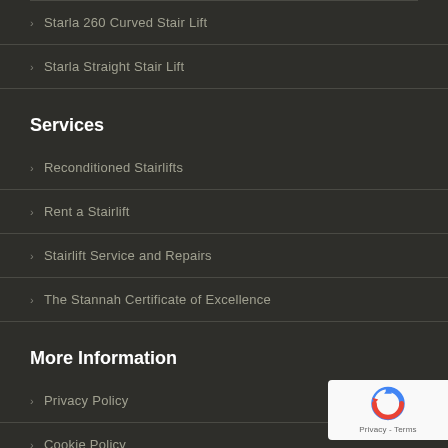Starla 260 Curved Stair Lift
Starla Straight Stair Lift
Services
Reconditioned Stairlifts
Rent a Stairlift
Stairlift Service and Repairs
The Stannah Certificate of Excellence
More Information
Privacy Policy
Cookie Policy
[Figure (logo): reCAPTCHA badge with circular arrow logo and Privacy - Terms text]